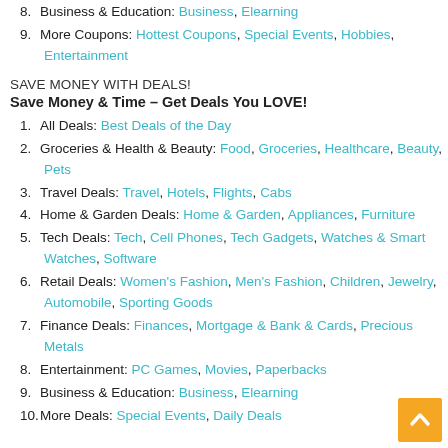8. Business & Education: Business, Elearning
9. More Coupons: Hottest Coupons, Special Events, Hobbies, Entertainment
SAVE MONEY WITH DEALS!
Save Money & Time – Get Deals You LOVE!
1. All Deals: Best Deals of the Day
2. Groceries & Health & Beauty: Food, Groceries, Healthcare, Beauty, Pets
3. Travel Deals: Travel, Hotels, Flights, Cabs
4. Home & Garden Deals: Home & Garden, Appliances, Furniture
5. Tech Deals: Tech, Cell Phones, Tech Gadgets, Watches & Smart Watches, Software
6. Retail Deals: Women's Fashion, Men's Fashion, Children, Jewelry, Automobile, Sporting Goods
7. Finance Deals: Finances, Mortgage & Bank & Cards, Precious Metals
8. Entertainment: PC Games, Movies, Paperbacks
9. Business & Education: Business, Elearning
10. More Deals: Special Events, Daily Deals